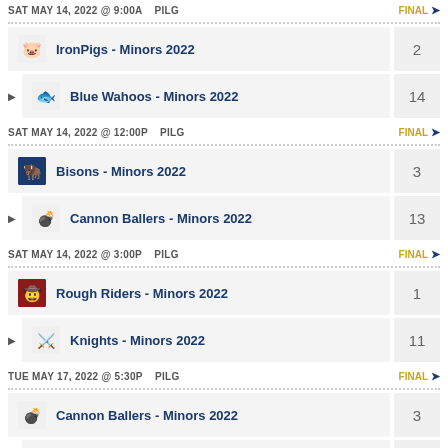SAT MAY 14, 2022 @ 9:00A  PILG  FINAL →
| Team | Score |
| --- | --- |
| IronPigs - Minors 2022 | 2 |
| Blue Wahoos - Minors 2022 | 14 |
SAT MAY 14, 2022 @ 12:00P  PILG  FINAL →
| Team | Score |
| --- | --- |
| Bisons - Minors 2022 | 3 |
| Cannon Ballers - Minors 2022 | 13 |
SAT MAY 14, 2022 @ 3:00P  PILG  FINAL →
| Team | Score |
| --- | --- |
| Rough Riders - Minors 2022 | 1 |
| Knights - Minors 2022 | 11 |
TUE MAY 17, 2022 @ 5:30P  PILG  FINAL →
| Team | Score |
| --- | --- |
| Cannon Ballers - Minors 2022 | 3 |
| Blue Wahoos - Minors 2022 | 8 |